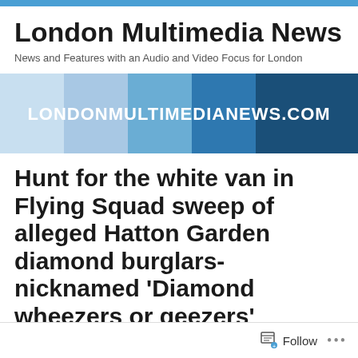London Multimedia News
News and Features with an Audio and Video Focus for London
[Figure (illustration): London Multimedia News website banner with gradient blue background showing LONDONMULTIMEDIANEWS.COM in white text]
Hunt for the white van in Flying Squad sweep of alleged Hatton Garden diamond burglars- nicknamed ‘Diamond wheezers or geezers’
Follow ...